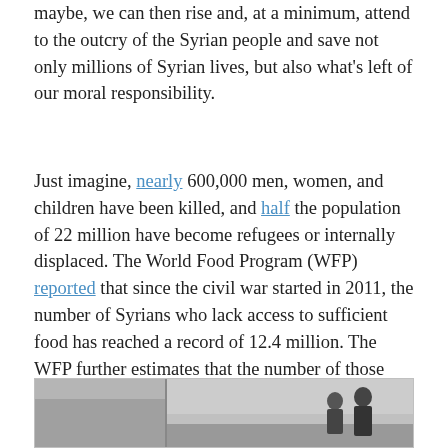maybe, we can then rise and, at a minimum, attend to the outcry of the Syrian people and save not only millions of Syrian lives, but also what's left of our moral responsibility.
Just imagine, nearly 600,000 men, women, and children have been killed, and half the population of 22 million have become refugees or internally displaced. The World Food Program (WFP) reported that since the civil war started in 2011, the number of Syrians who lack access to sufficient food has reached a record of 12.4 million. The WFP further estimates that the number of those who are food insecure and cannot survive without assistance has doubled in the past year to 1.3 million, and another 1.8 are at risk unless urgent action is taken.
[Figure (photo): Black and white photo strip showing people silhouetted, with two figures visible on the right side sitting or standing.]